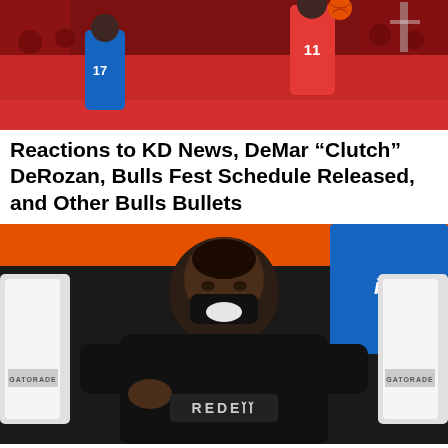[Figure (photo): Basketball game photo showing a player in red jersey #11 jumping, with a defender in blue, and a crowd in the background.]
Reactions to KD News, DeMar “Clutch” DeRozan, Bulls Fest Schedule Released, and Other Bulls Bullets
[Figure (photo): Kevin Durant smiling and laughing on the sideline, wearing a black sweatshirt with REDEM text, sitting near Gatorade courtside chairs with an orange background and blue accents.]
It’s Over: Kevin Durant Expected to Stay in Brooklyn